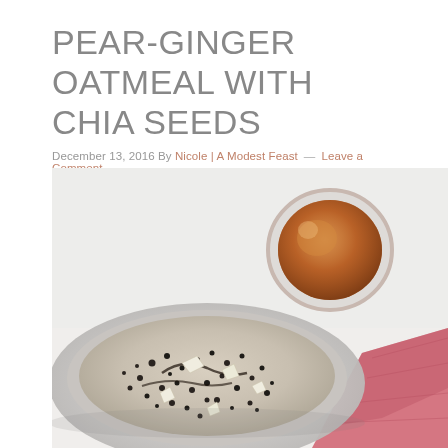PEAR-GINGER OATMEAL WITH CHIA SEEDS
December 13, 2016 By Nicole | A Modest Feast — Leave a Comment
[Figure (photo): Overhead/top-down photo of a bowl of pear-ginger oatmeal with chia seeds in a grey bowl, with a glass of amber-colored tea to the upper right, and a pink/magenta linen napkin to the lower right, all on a white surface.]